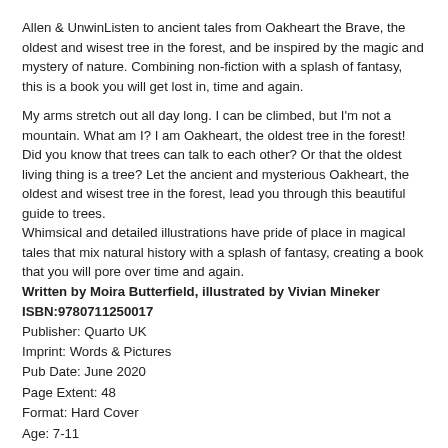Allen & UnwinListen to ancient tales from Oakheart the Brave, the oldest and wisest tree in the forest, and be inspired by the magic and mystery of nature. Combining non-fiction with a splash of fantasy, this is a book you will get lost in, time and again.
My arms stretch out all day long. I can be climbed, but I'm not a mountain. What am I? I am Oakheart, the oldest tree in the forest! Did you know that trees can talk to each other? Or that the oldest living thing is a tree? Let the ancient and mysterious Oakheart, the oldest and wisest tree in the forest, lead you through this beautiful guide to trees.
Whimsical and detailed illustrations have pride of place in magical tales that mix natural history with a splash of fantasy, creating a book that you will pore over time and again.
Written by Moira Butterfield, illustrated by Vivian Mineker
ISBN:9780711250017
Publisher: Quarto UK
Imprint: Words & Pictures
Pub Date: June 2020
Page Extent: 48
Format: Hard Cover
Age: 7-11